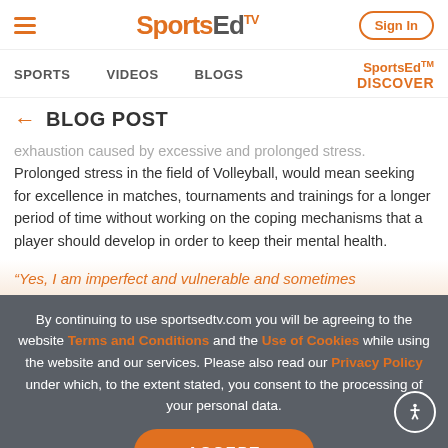SportsEdTV — Sign In
SPORTS   VIDEOS   BLOGS   SportsEd DISCOVER
← BLOG POST
exhaustion caused by excessive and prolonged stress. Prolonged stress in the field of Volleyball, would mean seeking for excellence in matches, tournaments and trainings for a longer period of time without working on the coping mechanisms that a player should develop in order to keep their mental health.
“Yes, I am imperfect and vulnerable and sometimes
By continuing to use sportsedtv.com you will be agreeing to the website Terms and Conditions and the Use of Cookies while using the website and our services. Please also read our Privacy Policy under which, to the extent stated, you consent to the processing of your personal data.
ACCEPT